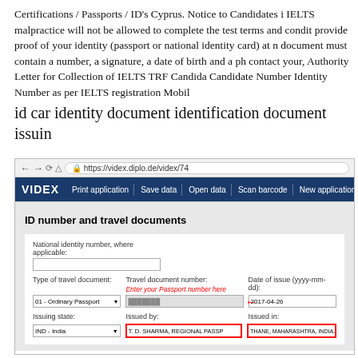Certifications / Passports / ID's Cyprus. Notice to Candidates i IELTS malpractice will not be allowed to complete the test terms and conditions provide proof of your identity (passport or national identity card) at n document must contain a number, a signature, a date of birth and a ph contact your, Authority Letter for Collection of IELTS TRF Candida Candidate Number Identity Number as per IELTS registration Mobil
id car identity document identification document issuin
[Figure (screenshot): Screenshot of VIDEX web application (https://videx.diplo.de/videx/74) showing the 'ID number and travel documents' form. Fields include National identity number, Type of travel document (01 - Ordinary Passport), Travel document number (with red annotation 'Enter your Passport number here' and a red arrow), Date of issue (2017-04-26), Issuing state (IND - India), Issued by (T. D. SHARMA, REGIONAL PASSP - highlighted in red box), Issued in (THANE, MAHARASHTRA, INDIA - highlighted in red box).]